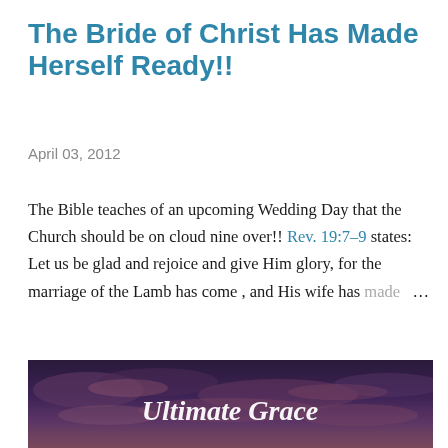The Bride of Christ Has Made Herself Ready!!
April 03, 2012
The Bible teaches of an upcoming Wedding Day that the Church should be on cloud nine over!! Rev. 19:7–9 states: Let us be glad and rejoice and give Him glory, for the marriage of the Lamb has come , and His wife has made ...
SHARE   2 COMMENTS   READ MORE
[Figure (photo): Dark purple/blue cloudy sky background with white italic text reading 'Ultimate Grace']